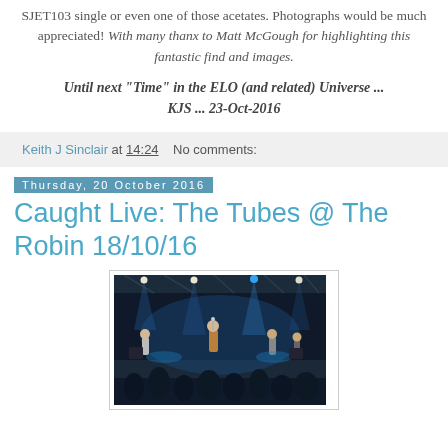SJET103 single or even one of those acetates. Photographs would be much appreciated! With many thanx to Matt McGough for highlighting this fantastic find and images.
Until next "Time" in the ELO (and related) Universe ... KJS ... 23-Oct-2016
Keith J Sinclair at 14:24   No comments:
Thursday, 20 October 2016
Caught Live: The Tubes @ The Robin 18/10/16
[Figure (photo): Concert photo showing a band performing on stage at The Robin, with blue stage lighting and audience silhouettes in the foreground]